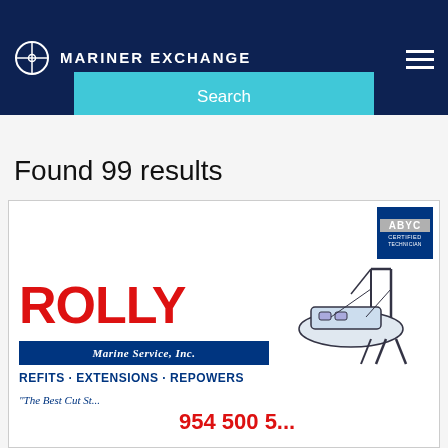MARINER EXCHANGE
[Figure (screenshot): Mariner Exchange website search results page showing a cyan Search button on navy background, results count 'Found 99 results', and a Rolly Marine Service Inc. advertisement card with ABYC Certified Technician badge.]
Search
Found 99 results
[Figure (logo): Rolly Marine Service Inc. advertisement showing large red ROLLY text, blue banner with 'Marine Service, Inc.', services text 'REFITS · EXTENSIONS · REPOWERS', website www.rolly-marine.com, and ABYC Certified Technician badge in top right corner.]